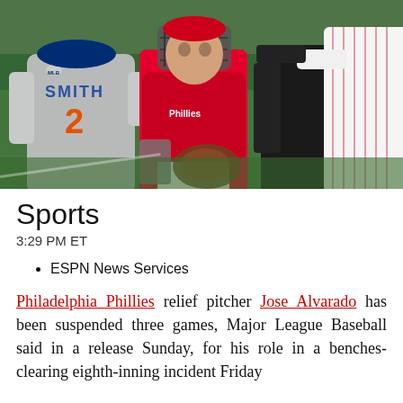[Figure (photo): Baseball players in an altercation on the field. A Mets player wearing jersey number 2 'SMITH' is visible from behind, facing a Phillies catcher in red gear with a catcher's mask on top of his head. Another player in a Phillies pinstripe uniform is partially visible on the right.]
Sports
3:29 PM ET
ESPN News Services
Philadelphia Phillies relief pitcher Jose Alvarado has been suspended three games, Major League Baseball said in a release Sunday, for his role in a benches-clearing eighth-inning incident Friday